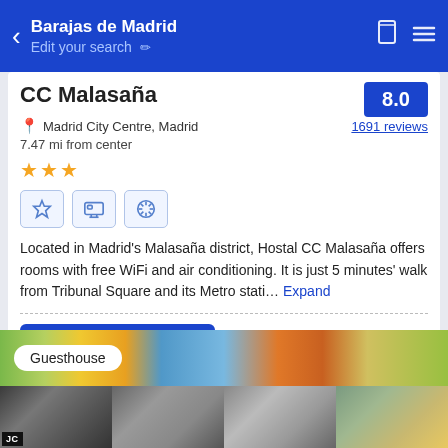Barajas de Madrid — Edit your search
CC Malasaña
Madrid City Centre, Madrid — 7.47 mi from center — 1691 reviews — Score: 8.0
Located in Madrid's Malasaña district, Hostal CC Malasaña offers rooms with free WiFi and air conditioning. It is just 5 minutes' walk from Tribunal Square and its Metro stati... Expand
Starting from US$22
[Figure (screenshot): See availability button and guesthouse photo strip with market scene black and white photos]
Guesthouse